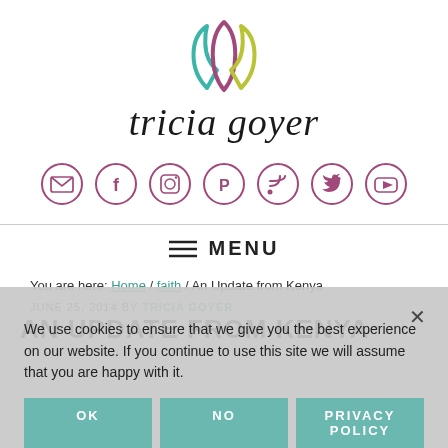[Figure (logo): Tricia Goyer website logo with stylized leaf/petal design in teal, purple, and yellow-green, with cursive brand name 'tricia goyer' below]
[Figure (infographic): Row of 7 circular social media icon buttons in purple outline: email, Facebook, Instagram, Pinterest, RSS, Twitter, YouTube]
≡ MENU
You are here: Home / faith / An Update from Kenya
We use cookies to ensure that we give you the best experience on our website. If you continue to use this site we will assume that you are happy with it.
JUNE 25, 2014 BY TRICIA GOYER
AN UPDATE FROM KENYA